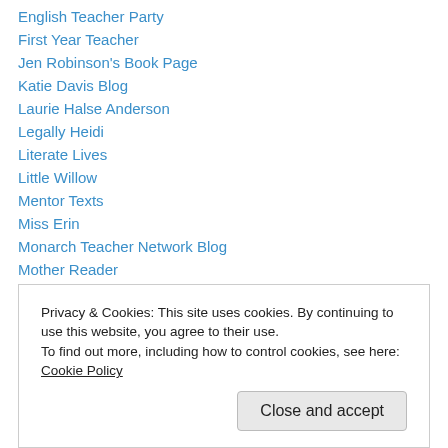English Teacher Party
First Year Teacher
Jen Robinson's Book Page
Katie Davis Blog
Laurie Halse Anderson
Legally Heidi
Literate Lives
Little Willow
Mentor Texts
Miss Erin
Monarch Teacher Network Blog
Mother Reader
My Breakfast Platter
Privacy & Cookies: This site uses cookies. By continuing to use this website, you agree to their use. To find out more, including how to control cookies, see here: Cookie Policy
Close and accept
Two Writing Teachers